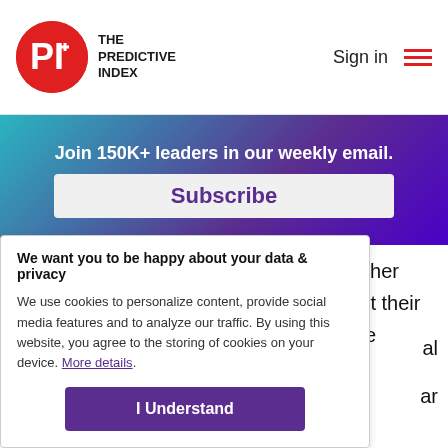[Figure (logo): The Predictive Index logo: red circle with PI text, followed by THE PREDICTIVE INDEX in bold uppercase]
Sign in
Join 150K+ leaders in our weekly email.
Subscribe
equality, openness, and belonging. In other words, the majority of those sampled felt their organization lacked at least one of these traits. If you're looking to hire and retain
We want you to be happy about your data & privacy
We use cookies to personalize content, provide social media features and to analyze our traffic. By using this website, you agree to the storing of cookies on your device. More details.
I Understand